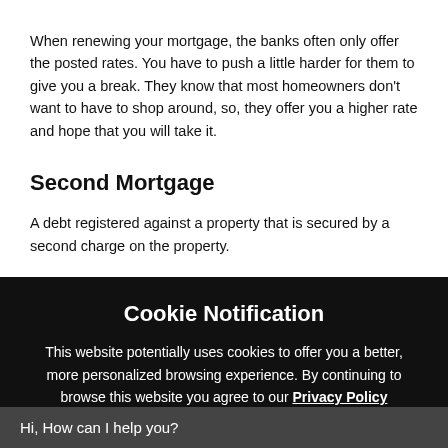When renewing your mortgage, the banks often only offer the posted rates. You have to push a little harder for them to give you a break. They know that most homeowners don't want to have to shop around, so, they offer you a higher rate and hope that you will take it.
Second Mortgage
A debt registered against a property that is secured by a second charge on the property.
Cookie Notification
This website potentially uses cookies to offer you a better, more personalized browsing experience. By continuing to browse this website you agree to our Privacy Policy
close
Hi, How can I help you?